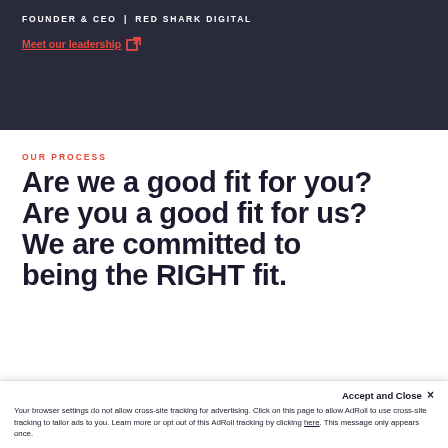FOUNDER & CEO | RED SHARK DIGITAL
Meet our leadership
OUR PROCESS
Are we a good fit for you? Are you a good fit for us? We are committed to being the RIGHT fit.
Accept and Close ×
Your browser settings do not allow cross-site tracking for advertising. Click on this page to allow AdRoll to use cross-site tracking to tailor ads to you. Learn more or opt out of this AdRoll tracking by clicking here. This message only appears once.